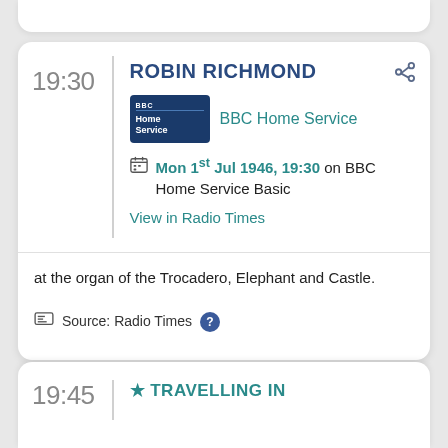19:30
ROBIN RICHMOND
[Figure (logo): BBC Home Service logo — dark blue rectangle with BBC text and 'Home Service' label]
BBC Home Service
Mon 1st Jul 1946, 19:30 on BBC Home Service Basic
View in Radio Times
at the organ of the Trocadero, Elephant and Castle.
Source: Radio Times ?
19:45
★ TRAVELLING IN